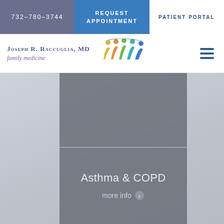732-780-3744
REQUEST APPOINTMENT
PATIENT PORTAL
[Figure (logo): Joseph R. Raccuglia, MD family medicine logo with colorful figures icon]
Asthma & COPD
more info